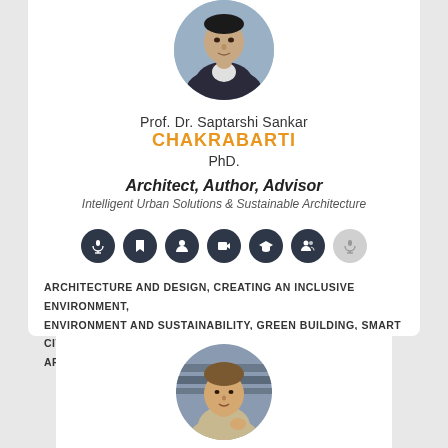[Figure (photo): Circular portrait photo of Prof. Dr. Saptarshi Sankar Chakrabarti in a dark suit]
Prof. Dr. Saptarshi Sankar CHAKRABARTI
PhD.
Architect, Author, Advisor
Intelligent Urban Solutions & Sustainable Architecture
[Figure (infographic): Row of 7 dark circular icon buttons (microphone, bookmark, person, video, graduation cap, people, and a lighter microphone)]
ARCHITECTURE AND DESIGN, CREATING AN INCLUSIVE ENVIRONMENT, ENVIRONMENT AND SUSTAINABILITY, GREEN BUILDING, SMART CITY, ARCHITECTURAL EDUCATION
[Figure (photo): Circular portrait photo of a man in a light-colored jacket, gesturing, with bookshelves in background]